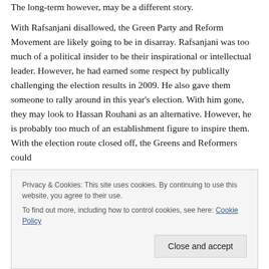The long-term however, may be a different story.
With Rafsanjani disallowed, the Green Party and Reform Movement are likely going to be in disarray. Rafsanjani was too much of a political insider to be their inspirational or intellectual leader. However, he had earned some respect by publically challenging the election results in 2009. He also gave them someone to rally around in this year's election. With him gone, they may look to Hassan Rouhani as an alternative. However, he is probably too much of an establishment figure to inspire them. With the election route closed off, the Greens and Reformers could
Privacy & Cookies: This site uses cookies. By continuing to use this website, you agree to their use.
To find out more, including how to control cookies, see here: Cookie Policy